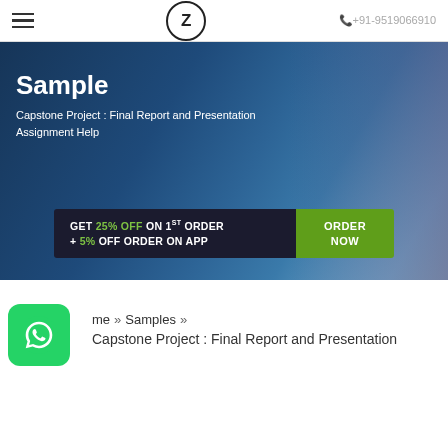≡  Z  +91-9519066910
[Figure (screenshot): Hero banner with dark blue background showing a person working, with 'Sample' title and subtitle 'Capstone Project : Final Report and Presentation Assignment Help', and a promotional banner: GET 25% OFF ON 1ST ORDER + 5% OFF ORDER ON APP | ORDER NOW]
Home » Samples » Capstone Project : Final Report and Presentation